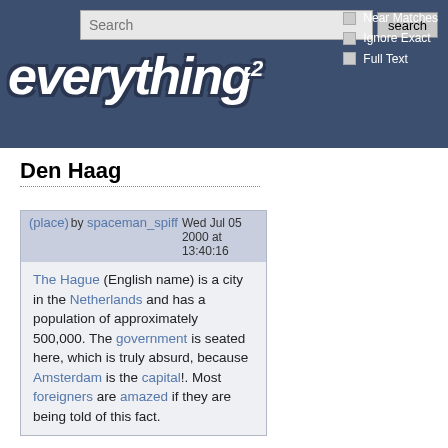everything2 — Search bar with Near Matches, Ignore Exact, Full Text checkboxes
Den Haag
(place) by spaceman_spiff  Wed Jul 05 2000 at 13:40:16
The Hague (English name) is a city in the Netherlands and has a population of approximately 500,000. The government is seated here, which is truly absurd, because Amsterdam is the capital!. Most foreigners are amazed if they are being told of this fact.